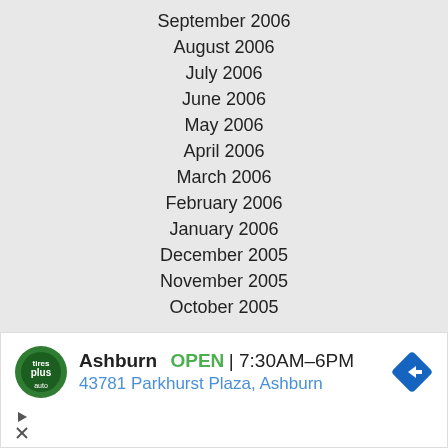September 2006
August 2006
July 2006
June 2006
May 2006
April 2006
March 2006
February 2006
January 2006
December 2005
November 2005
October 2005
[Figure (other): Advertisement for Tires Plus auto shop in Ashburn showing logo, open status 7:30AM-6PM, address 43781 Parkhurst Plaza Ashburn, and navigation arrow icon]